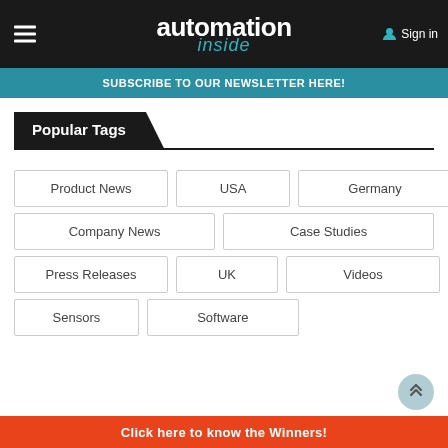automation inside | Sign in
SUBSCRIBE TO OUR NEWSLETTER HERE!
Popular Tags
Product News
USA
Germany
Company News
Case Studies
Press Releases
UK
Videos
Sensors
Software
Click here to know the Winners!